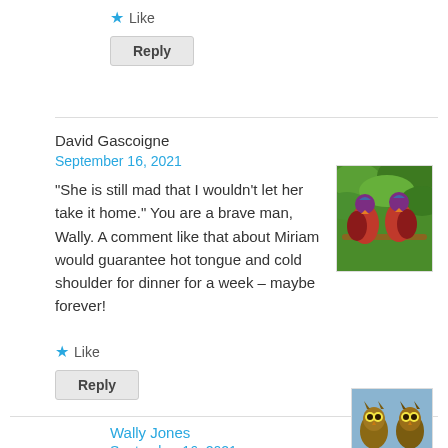Like
Reply
David Gascoigne
September 16, 2021
“She is still mad that I wouldn’t let her take it home.” You are a brave man, Wally. A comment like that about Miriam would guarantee hot tongue and cold shoulder for dinner for a week – maybe forever!
[Figure (photo): Two red and blue parrots/lories perched on a branch with green foliage background]
Like
Reply
Wally Jones
September 16, 2021
[Figure (photo): Two great horned owls on a blue/grey background]